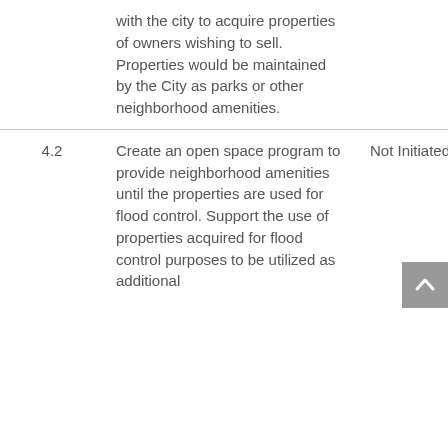|  | Description | Status |
| --- | --- | --- |
|  | with the city to acquire properties of owners wishing to sell. Properties would be maintained by the City as parks or other neighborhood amenities. |  |
| 4.2 | Create an open space program to provide neighborhood amenities until the properties are used for flood control. Support the use of properties acquired for flood control purposes to be utilized as additional | Not Initiated |